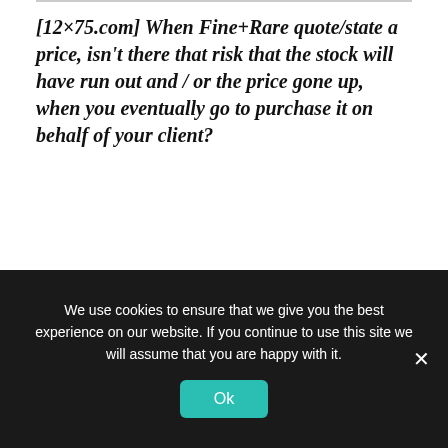[12×75.com] When Fine+Rare quote/state a price, isn't there that risk that the stock will have run out and / or the price gone up, when you eventually go to purchase it on behalf of your client?
Just as any traditional merchant's availabilities of fine wines change as a result of orders and are therefore offered 'subject to remaining available'
We use cookies to ensure that we give you the best experience on our website. If you continue to use this site we will assume that you are happy with it.